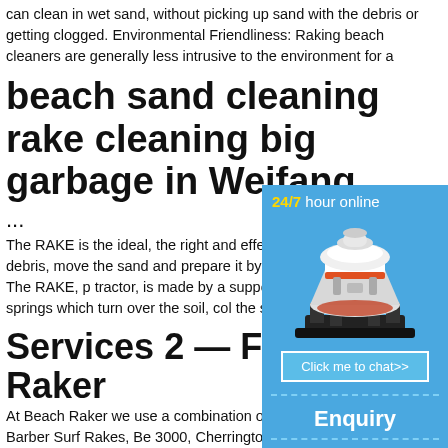can clean in wet sand, without picking up sand with the debris or getting clogged. Environmental Friendliness: Raking beach cleaners are generally less intrusive to the environment for a
beach sand cleaning rake cleaning big garbage in Weifang
...
The RAKE is the ideal, the right and effective tool to remove large debris, move the sand and prepare it by a beach cleaning machine. The RAKE, p tractor, is made by a support frame on whic special springs which turn over the soil, col the sand.
[Figure (infographic): Blue sidebar widget showing '24/7 hour online' text in yellow and white, an image of an industrial cone crusher machine, a 'Click me to chat>>' button, a dashed divider, 'Enquiry' text, another dashed divider, and 'limingjlmofen' username text.]
Services 2 — Florida B Raker
At Beach Raker we use a combination of sp equipment including Barber Surf Rakes, Be 3000, Cherrington Sand Sifter, and Barber and sift the upper portion of beach. Our bea